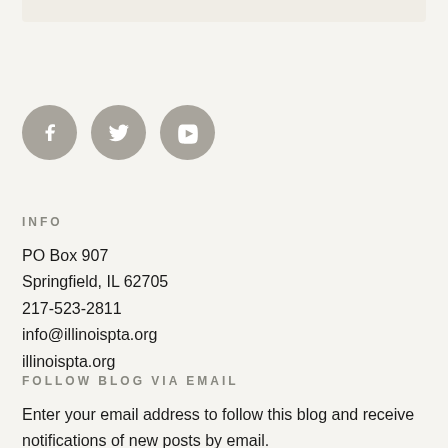[Figure (illustration): Three social media icon circles (Facebook, Twitter, YouTube) in gray]
INFO
PO Box 907
Springfield, IL 62705
217-523-2811
info@illinoispta.org
illinoispta.org
FOLLOW BLOG VIA EMAIL
Enter your email address to follow this blog and receive notifications of new posts by email.